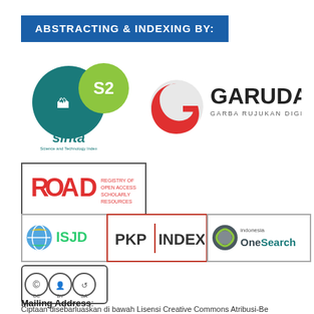ABSTRACTING & INDEXING BY:
[Figure (logo): SINTA S2 logo - Science and Technology Index]
[Figure (logo): GARUDA - Garba Rujukan Digital logo]
[Figure (logo): ROAD - Registry of Open Access Repositories logo in bordered box]
[Figure (logo): ISJD logo in bordered box]
[Figure (logo): PKP INDEX logo in bordered box]
[Figure (logo): Indonesia OneSearch logo in bordered box]
[Figure (logo): Creative Commons BY-SA license logo]
Ciptaan disebarluaskan di bawah Lisensi Creative Commons Atribusi-Be
Mailing Address: